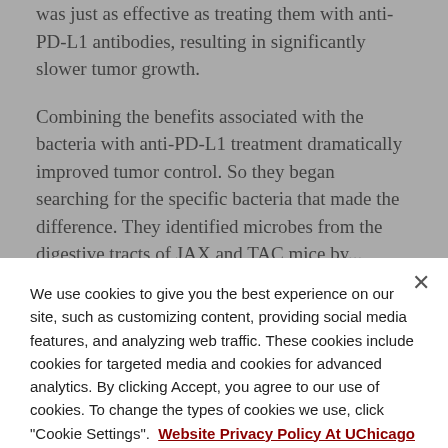was just as effective as treating them with anti-PD-L1 antibodies, resulting in significantly slower tumor growth.
Combining the benefits associated with the bacteria with anti-PD-L1 treatment dramatically improved tumor control. So they began searching for the specific bacteria that made the difference. They identified microbes from the digestive tracts of JAX and TAC mice by...
We use cookies to give you the best experience on our site, such as customizing content, providing social media features, and analyzing web traffic. These cookies include cookies for targeted media and cookies for advanced analytics. By clicking Accept, you agree to our use of cookies. To change the types of cookies we use, click "Cookie Settings".  Website Privacy Policy At UChicago Medicine
Cookies Settings
Accept All Cookies